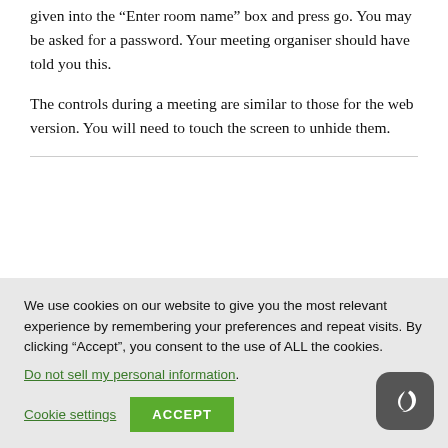given into the “Enter room name” box and press go. You may be asked for a password. Your meeting organiser should have told you this.
The controls during a meeting are similar to those for the web version. You will need to touch the screen to unhide them.
We use cookies on our website to give you the most relevant experience by remembering your preferences and repeat visits. By clicking “Accept”, you consent to the use of ALL the cookies.
Do not sell my personal information.
Cookie settings
ACCEPT